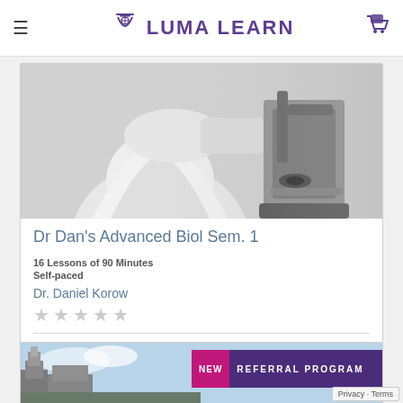LUMA LEARN
[Figure (photo): Grayscale photo of a person in a lab coat working with a microscope]
Dr Dan’s Advanced Biol Sem. 1
16 Lessons of 90 Minutes
Self-paced
Dr. Daniel Korow
★ ★ ★ ★ ★ (empty stars)
$199
[Figure (photo): Partial view of a second course card showing a building/architecture photo and a purple referral program banner]
NEW  REFERRAL PROGRAM
Privacy · Terms